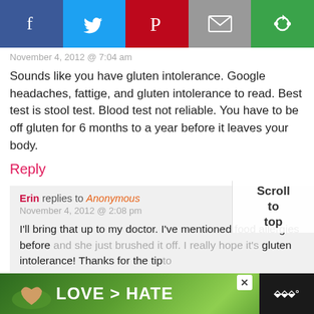[Figure (screenshot): Social media share bar with Facebook, Twitter, Pinterest, Email, and another share button icons]
November 4, 2012 @ 7:04 am
Sounds like you have gluten intolerance. Google headaches, fattige, and gluten intolerance to read. Best test is stool test. Blood test not reliable. You have to be off gluten for 6 months to a year before it leaves your body.
Reply
Erin replies to Anonymous
November 4, 2012 @ 2:08 pm
I'll bring that up to my doctor. I've mentioned food allergies before and she just brushed it off. I really hope it's gluten intolerance! Thanks for the tip
[Figure (screenshot): Scroll to top overlay widget]
[Figure (photo): Advertisement banner: hands forming heart shape with LOVE > HATE text on green background]